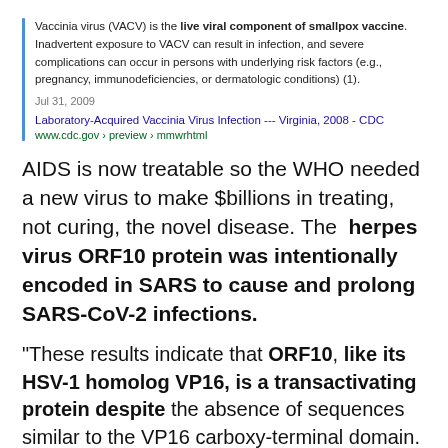Vaccinia virus (VACV) is the live viral component of smallpox vaccine. Inadvertent exposure to VACV can result in infection, and severe complications can occur in persons with underlying risk factors (e.g., pregnancy, immunodeficiencies, or dermatologic conditions) (1).
Jul 31, 2009
Laboratory-Acquired Vaccinia Virus Infection --- Virginia, 2008 - CDC
www.cdc.gov › preview › mmwrhtml
AIDS is now treatable so the WHO needed a new virus to make $billions in treating, not curing, the novel disease. The herpes virus ORF10 protein was intentionally encoded in SARS to cause and prolong SARS-CoV-2 infections.
“These results indicate that ORF10, like its HSV-1 homolog VP16, is a transactivating protein despite the absence of sequences similar to the VP16 carboxy-terminal domain. The transactivating function of the ORF10 tegument